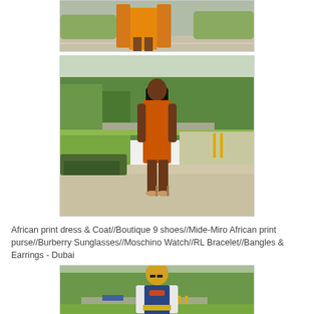[Figure (photo): Top portion of a photo showing a person in an orange and brown African print outfit standing on a sidewalk, cropped at the top of the page]
[Figure (photo): Full photo of a woman wearing a bright orange dress with long black hair, standing on a sidewalk with trees and green grass in the background, viewed from behind, wearing nude heels]
African print dress & Coat//Boutique 9 shoes//Mide-Miro African print purse//Burberry Sunglasses//Moschino Watch//RL Bracelet//Bangles & Earrings - Dubai
[Figure (photo): Partial photo of a person wearing a denim vest over a white shirt with a yellow belt and short blonde hair, standing outdoors with grass and trees in the background, cropped at the bottom of the page]